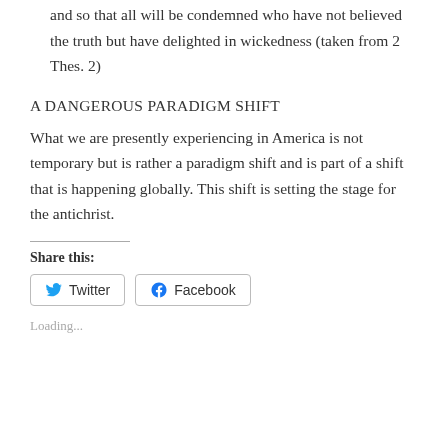and so that all will be condemned who have not believed the truth but have delighted in wickedness (taken from 2 Thes. 2)
A DANGEROUS PARADIGM SHIFT
What we are presently experiencing in America is not temporary but is rather a paradigm shift and is part of a shift that is happening globally. This shift is setting the stage for the antichrist.
Share this:
Twitter  Facebook
Loading...